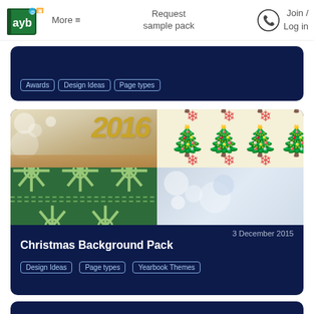ayb | More ≡ | Request sample pack | Join / Log in
[Figure (screenshot): Partial dark navy card with tags: Awards, Design Ideas, Page types]
[Figure (photo): Christmas Background Pack card with collage of christmas images: gold 2016 bokeh, christmas tree pattern, green knit snowflake pattern, silver bokeh]
3 December 2015
Christmas Background Pack
Design Ideas
Page types
Yearbook Themes